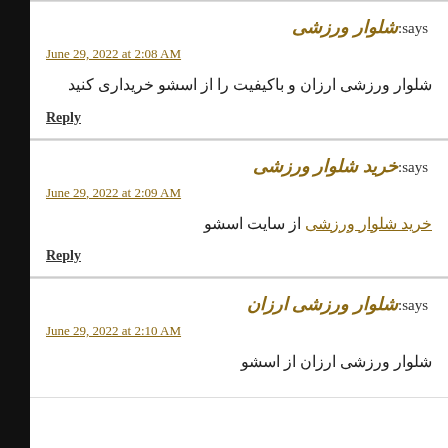شلوار ورزشی says:
June 29, 2022 at 2:08 AM
شلوار ورزشی ارزان و باکیفیت را از اسشو خریداری کنید
Reply
خرید شلوار ورزشی says:
June 29, 2022 at 2:09 AM
خرید شلوار ورزشی از سایت اسشو
Reply
شلوار ورزشی ارزان says:
June 29, 2022 at 2:10 AM
شلوار ورزشی ارزان از اسشو